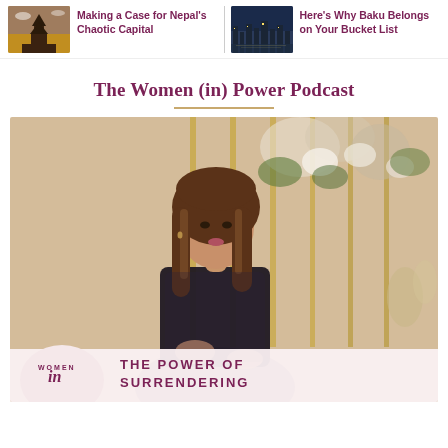[Figure (photo): Thumbnail image of Nepal temple/pagoda with dramatic sky]
Making a Case for Nepal's Chaotic Capital
[Figure (photo): Thumbnail image of Baku city skyline at dusk]
Here's Why Baku Belongs on Your Bucket List
The Women (in) Power Podcast
[Figure (photo): Woman with long brown hair speaking, gesturing with hands, seated in front of floral decorations and gold rod backdrop. Bottom overlay shows Women in Power podcast branding with text THE POWER OF SURRENDERING]
THE POWER OF SURRENDERING